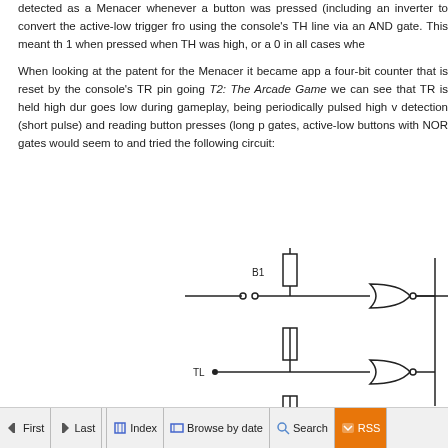detected as a Menacer whenever a button was pressed (including an inverter to convert the active-low trigger from using the console's TH line via an AND gate. This meant th 1 when pressed when TH was high, or a 0 in all cases whe
When looking at the patent for the Menacer it became app a four-bit counter that is reset by the console's TR pin going T2: The Arcade Game we can see that TR is held high dur goes low during gameplay, being periodically pulsed high detection (short pulse) and reading button presses (long p gates, active-low buttons with NOR gates would seem to and tried the following circuit:
[Figure (circuit-diagram): Partial circuit diagram showing buttons B1 and TL with resistors and logic gates (NOR gates), connected by wires. B1 has a switch symbol with two circles, connected to a horizontal wire leading to a NOR gate. TL is an input node connected via wire to another NOR gate. Resistors are shown as rectangular boxes in series.]
First  Last  Index  Browse by date  Search  RSS